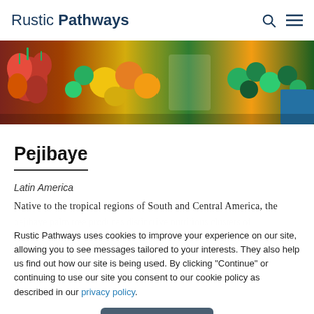Rustic Pathways
[Figure (photo): A colorful market display of tropical fruits including red pejibaye palm fruits, limes, yellow citrus, green grapes, and other tropical produce.]
Pejibaye
Latin America
Native to the tropical regions of South and Central America, the
Rustic Pathways uses cookies to improve your experience on our site, allowing you to see messages tailored to your interests. They also help us find out how our site is being used. By clicking "Continue" or continuing to use our site you consent to our cookie policy as described in our privacy policy.
Continue